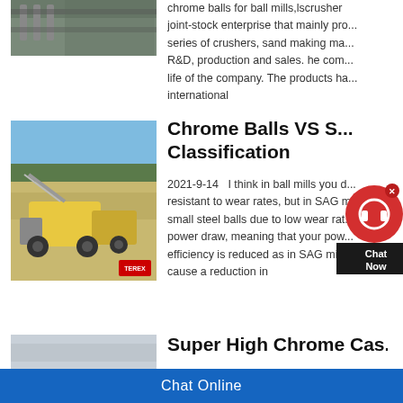[Figure (photo): Industrial facility with pipes and structures, partially visible at top left]
chrome balls for ball mills,lscrusher joint-stock enterprise that mainly produces series of crushers, sand making ma... R&D, production and sales. he com... life of the company. The products ha... international
[Figure (photo): Mining equipment including crusher/screener in an open quarry with trees in background and Terex logo at bottom right]
Chrome Balls VS S... Classification
2021-9-14   I think in ball mills you d... resistant to wear rates, but in SAG m... small steel balls due to low wear rat... power draw, meaning that your pow... efficiency is reduced as in SAG mills... cause a reduction in
[Figure (photo): Partial image at bottom left, light gray/blue tones]
Super High Chrome Cas...
[Figure (other): Chat widget popup with red circular icon and Chat Now label]
Chat Online